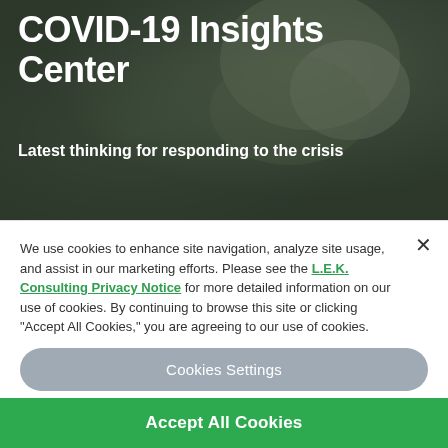[Figure (photo): Hero image with dark overlay showing a person's hands, background in muted green-gray tones]
COVID-19 Insights Center
Latest thinking for responding to the crisis
We use cookies to enhance site navigation, analyze site usage, and assist in our marketing efforts. Please see the L.E.K. Consulting Privacy Notice for more detailed information on our use of cookies. By continuing to browse this site or clicking "Accept All Cookies," you are agreeing to our use of cookies.
Cookies Settings
Accept All Cookies